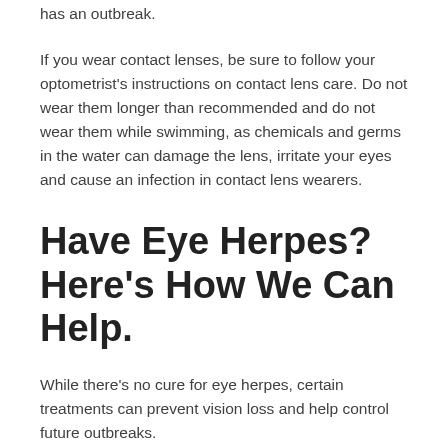has an outbreak.
If you wear contact lenses, be sure to follow your optometrist's instructions on contact lens care. Do not wear them longer than recommended and do not wear them while swimming, as chemicals and germs in the water can damage the lens, irritate your eyes and cause an infection in contact lens wearers.
Have Eye Herpes? Here's How We Can Help.
While there's no cure for eye herpes, certain treatments can prevent vision loss and help control future outbreaks.
Early diagnosis and treatment — ideally within a 72 hour window — can help mitigate severe eye damage and significantly improve your symptoms.